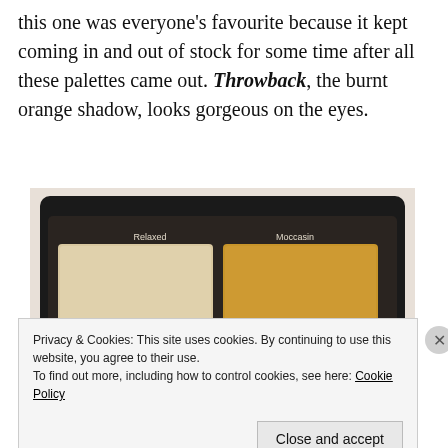this one was everyone's favourite because it kept coming in and out of stock for some time after all these palettes came out. Throwback, the burnt orange shadow, looks gorgeous on the eyes.
[Figure (photo): An open eyeshadow palette with 8 shades: two large pans labeled 'Relaxed' (light beige) and 'Moccasin' (warm tan), and six smaller pans labeled 'Siesta' (copper shimmer), 'Nirvana' (deep red), 'Delirious' (rust/mauve), 'Torch' (bright orange), 'Throwback' (burnt orange), and 'Dark Horse' (dark brown). The palette is black with a mirror at the bottom.]
Privacy & Cookies: This site uses cookies. By continuing to use this website, you agree to their use.
To find out more, including how to control cookies, see here: Cookie Policy
Close and accept